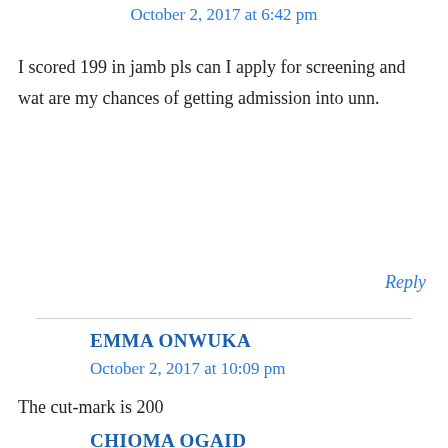October 2, 2017 at 6:42 pm
I scored 199 in jamb pls can I apply for screening and wat are my chances of getting admission into unn.
Reply
EMMA ONWUKA
October 2, 2017 at 10:09 pm
The cut-mark is 200
Reply
CHIOMA OGAID